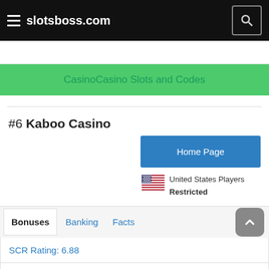slotsboss.com
CasinoCasino Slots and Codes
#6 Kaboo Casino
Home Page
United States Players Restricted
Bonuses   Banking   Facts
SCR Rating: 6.88